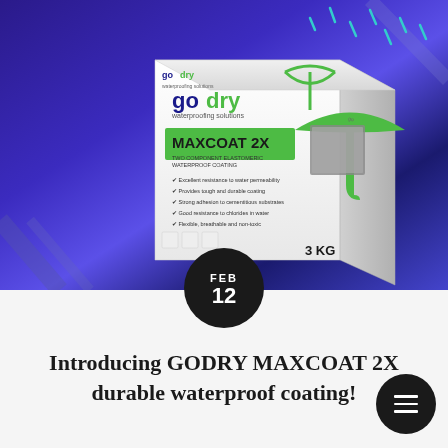[Figure (photo): Product photo of GoDry MAXCOAT 2X waterproofing solution box on a blue/purple gradient background. The white box features the GoDry brand logo in green and dark blue, with 'MAXCOAT 2X' prominently displayed and bullet points listing product features: Excellent resistance to water permeability, Provides tough and durable coating, Strong adhesion to cementitious substrates, Good resistance to chlorides in water, Flexible, breathable and non-toxic. The box shows 3 KG size.]
FEB 12
Introducing GODRY MAXCOAT 2X durable waterproof coating!